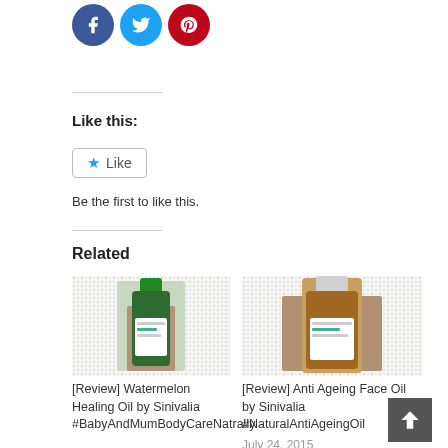[Figure (other): Three social share buttons: Facebook (blue circle), Twitter (blue circle), Pinterest (red circle)]
Like this:
[Figure (other): Like button widget with star icon and 'Like' text in a rounded rectangle]
Be the first to like this.
Related
[Figure (photo): Product photo of Watermelon Healing Oil by Sinivalia - green bottle with white label]
[Review] Watermelon Healing Oil by Sinivalia #BabyAndMumBodyCareNatrally
[Figure (photo): Product photo of Anti Ageing Face Oil by Sinivalia - amber bottle with white label]
[Review] Anti Ageing Face Oil by Sinivalia #NaturalAntiAgeingOil
July 24, 2015